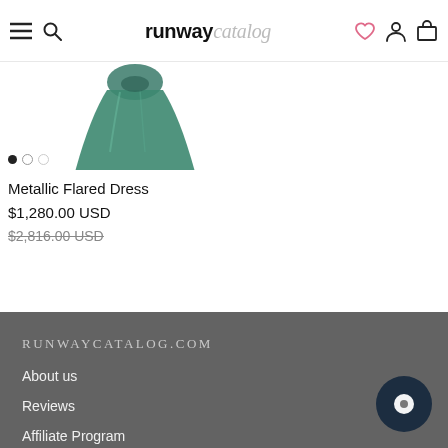runway catalog — navigation bar with menu, search, logo, wishlist, account, cart icons
[Figure (photo): Partial view of a teal/green metallic flared dress product image with color swatch dots below]
Metallic Flared Dress
$1,280.00 USD
$2,816.00 USD (strikethrough original price)
RUNWAYCATALOG.COM
About us
Reviews
Affiliate Program